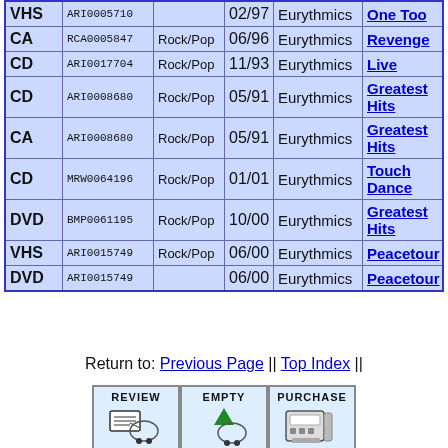| Type | ID | Genre | Date | Artist | Title |
| --- | --- | --- | --- | --- | --- |
| VHS | ARI0005710 |  | 02/97 | Eurythmics | One Too |
| CA | RCA0005847 | Rock/Pop | 06/96 | Eurythmics | Revenge |
| CD | ARI0017704 | Rock/Pop | 11/93 | Eurythmics | Live |
| CD | ARI0008680 | Rock/Pop | 05/91 | Eurythmics | Greatest Hits |
| CA | ARI0008680 | Rock/Pop | 05/91 | Eurythmics | Greatest Hits |
| CD | MRW0064196 | Rock/Pop | 01/01 | Eurythmics | Touch Dance |
| DVD | BMP0061195 | Rock/Pop | 10/00 | Eurythmics | Greatest Hits |
| VHS | ARI0015749 | Rock/Pop | 06/00 | Eurythmics | Peacetour |
| DVD | ARI0015749 |  | 06/00 | Eurythmics | Peacetour |
Return to: Previous Page || Top Index ||
[Figure (illustration): Three buttons: REVIEW (shopping cart with list), EMPTY (shopping cart with green pyramid), PURCHASE (cash register)]